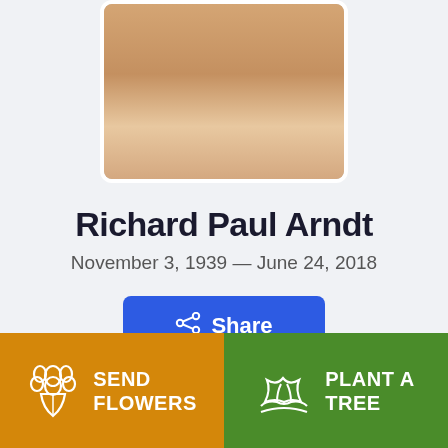[Figure (photo): Partial photo of Richard Paul Arndt, cropped showing lower face/chin area]
Richard Paul Arndt
November 3, 1939 — June 24, 2018
[Figure (other): Blue Share button with share icon]
[Figure (other): Partially visible white card with blue text]
[Figure (other): Orange SEND FLOWERS button and green PLANT A TREE button at bottom]